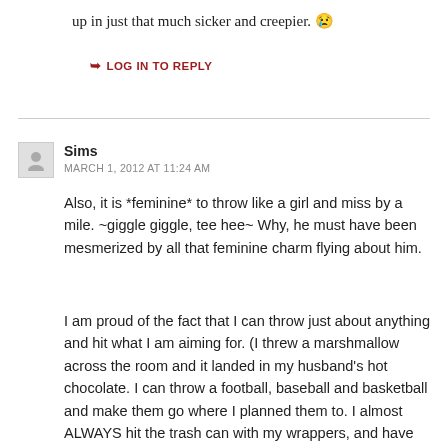up in just that much sicker and creepier. 😢
➥ LOG IN TO REPLY
Sims
MARCH 1, 2012 AT 11:24 AM
Also, it is *feminine* to throw like a girl and miss by a mile. ~giggle giggle, tee hee~ Why, he must have been mesmerized by all that feminine charm flying about him.
I am proud of the fact that I can throw just about anything and hit what I am aiming for. (I threw a marshmallow across the room and it landed in my husband's hot chocolate. I can throw a football, baseball and basketball and make them go where I planned them to. I almost ALWAYS hit the trash can with my wrappers, and have won prizes at all the ring-toss type games I ever tried.) And I am still feminine. But when I was in